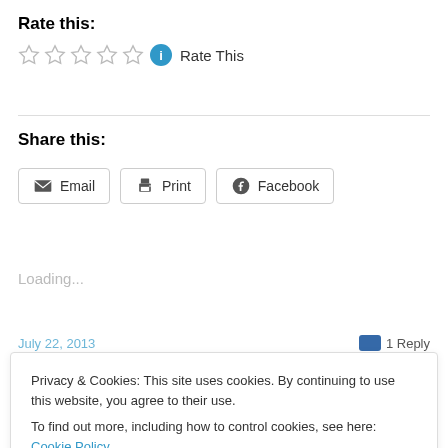Rate this:
☆ ☆ ☆ ☆ ☆  Rate This
Share this:
Email
Print
Facebook
Loading...
July 22, 2013    1 Reply
Privacy & Cookies: This site uses cookies. By continuing to use this website, you agree to their use.
To find out more, including how to control cookies, see here: Cookie Policy
Close and accept